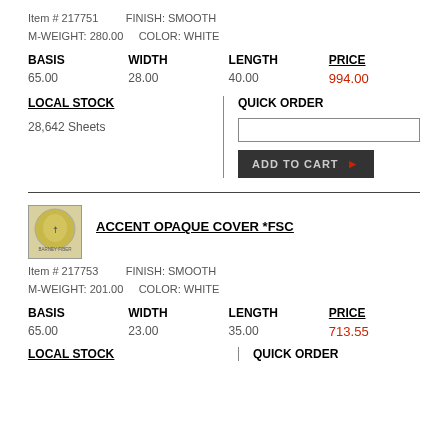Item # 217751   FINISH: SMOOTH
M-WEIGHT: 280.00   COLOR: WHITE
| BASIS | WIDTH | LENGTH | PRICE |
| --- | --- | --- | --- |
| 65.00 | 28.00 | 40.00 | 994.00 |
LOCAL STOCK
28,642 Sheets
QUICK ORDER
[Figure (screenshot): Quick order input box and Add to Cart button]
ACCENT OPAQUE COVER *FSC
[Figure (logo): Barney Fiber logo - circular yellow/gold design with figure, text BARNEY FIBER below]
Item # 217753   FINISH: SMOOTH
M-WEIGHT: 201.00   COLOR: WHITE
| BASIS | WIDTH | LENGTH | PRICE |
| --- | --- | --- | --- |
| 65.00 | 23.00 | 35.00 | 713.55 |
LOCAL STOCK
QUICK ORDER